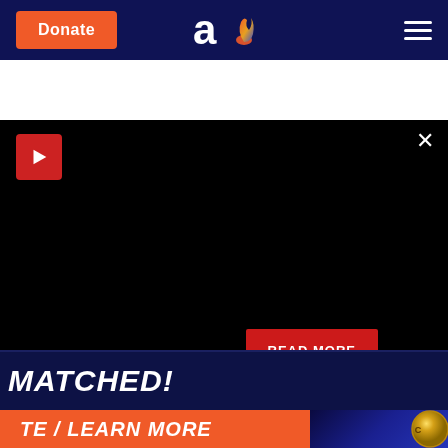[Figure (screenshot): Website navigation bar with orange Donate button, Aish.com logo (letter 'a' with flame), and hamburger menu on dark navy background]
[Figure (screenshot): Black video player area with red play button in top-left corner, close X button in top-right, and red READ MORE button in lower-right area]
MATCHED!
[Figure (screenshot): Orange banner button partially visible at bottom reading 'TE / LEARN MORE' with gold coin graphic on right side]